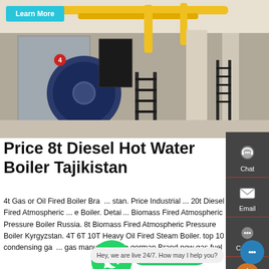[Figure (photo): Industrial boiler room with large blue cylindrical boiler, yellow pipework overhead, metal staircases, and concrete pillars in a factory setting.]
Price 8t Diesel Hot Water Boiler Tajikistan
4t Gas or Oil Fired Boiler Brand ... stan. Price Industrial ... 20t Diesel Fired Atmospheric ... e Boiler. Details ... Biomass Fired Atmospheric Pressure Boiler Russia. 8t Biomass Fired Atmospheric Pressure Boiler Kyrgyzstan. 4T 6T 10T Heavy Oil Fired Steam Boiler. top 10 condensing gas ... gas manufacture in german Brand new gas fuel